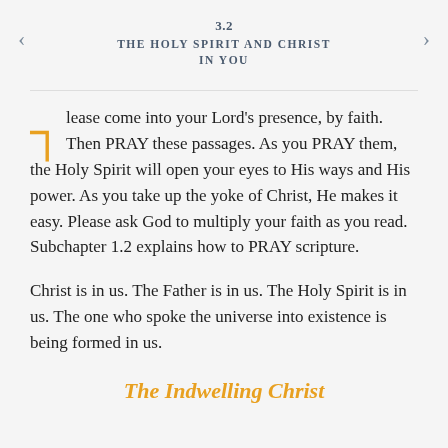3.2
THE HOLY SPIRIT AND CHRIST IN YOU
Please come into your Lord's presence, by faith. Then PRAY these passages. As you PRAY them, the Holy Spirit will open your eyes to His ways and His power. As you take up the yoke of Christ, He makes it easy. Please ask God to multiply your faith as you read. Subchapter 1.2 explains how to PRAY scripture.
Christ is in us. The Father is in us. The Holy Spirit is in us. The one who spoke the universe into existence is being formed in us.
The Indwelling Christ